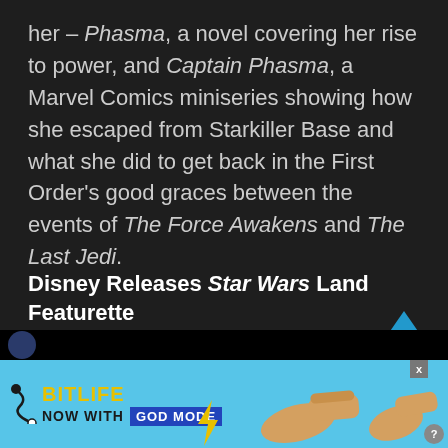her – Phasma, a novel covering her rise to power, and Captain Phasma, a Marvel Comics miniseries showing how she escaped from Starkiller Base and what she did to get back in the First Order's good graces between the events of The Force Awakens and The Last Jedi.
Disney Releases Star Wars Land Featurette
[Figure (screenshot): Advertisement banner for BitLife game – 'Now with GOD MODE' on a light blue background with hand pointing graphic]